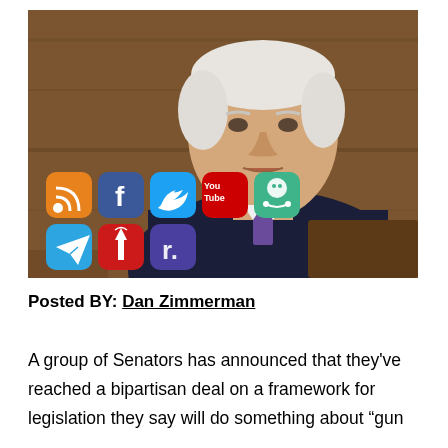[Figure (photo): Photograph of an older white-haired man in a suit speaking, with social media app icons overlaid in the lower-left corner (RSS, Facebook, Twitter, YouTube, MeWe, Telegram, MJ, Rumble)]
Posted BY: Dan Zimmerman
A group of Senators has announced that they've reached a bipartisan deal on a framework for legislation they say will do something about "gun